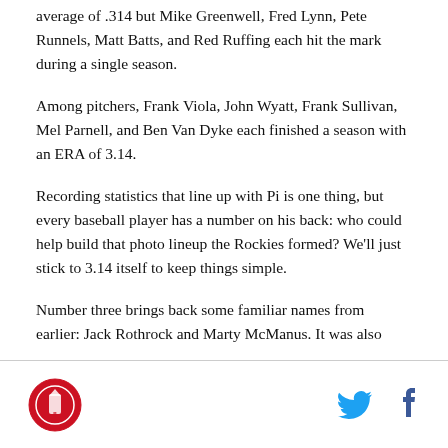average of .314 but Mike Greenwell, Fred Lynn, Pete Runnels, Matt Batts, and Red Ruffing each hit the mark during a single season.
Among pitchers, Frank Viola, John Wyatt, Frank Sullivan, Mel Parnell, and Ben Van Dyke each finished a season with an ERA of 3.14.
Recording statistics that line up with Pi is one thing, but every baseball player has a number on his back: who could help build that photo lineup the Rockies formed? We'll just stick to 3.14 itself to keep things simple.
Number three brings back some familiar names from earlier: Jack Rothrock and Marty McManus. It was also
[logo] [twitter] [facebook]